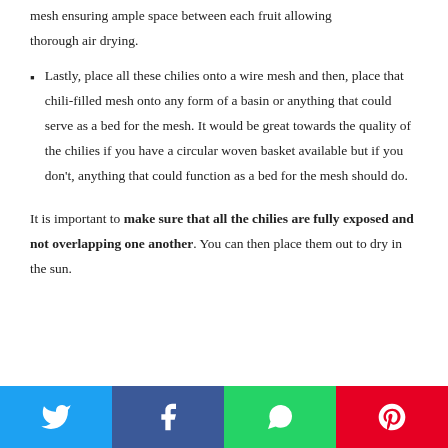mesh ensuring ample space between each fruit allowing thorough air drying.
Lastly, place all these chilies onto a wire mesh and then, place that chili-filled mesh onto any form of a basin or anything that could serve as a bed for the mesh. It would be great towards the quality of the chilies if you have a circular woven basket available but if you don't, anything that could function as a bed for the mesh should do.
It is important to make sure that all the chilies are fully exposed and not overlapping one another. You can then place them out to dry in the sun.
Twitter | Facebook | WhatsApp | Pinterest